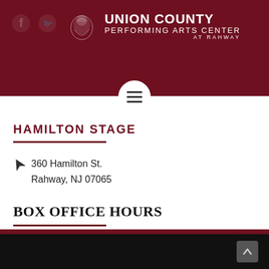[Figure (logo): Union County Performing Arts Center at Rahway logo with lion crest, social media icons (Facebook, Twitter), and hamburger menu circle]
HAMILTON STAGE
360 Hamilton St.
Rahway, NJ 07065
BOX OFFICE HOURS
(732) 499-8226
Tuesday - Friday 10:00 AM - 5:00 PM